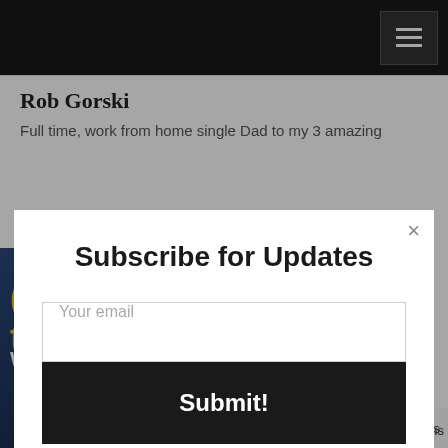Rob Gorski
Full time, work from home single Dad to my 3 amazing
Subscribe for Updates
Your email
Submit!
[Figure (screenshot): Modal popup on a blog page with 'Subscribe for Updates' form, email input field, and Submit button. Background shows Rob Gorski blog header and dark-themed image area.]
AddThis   is